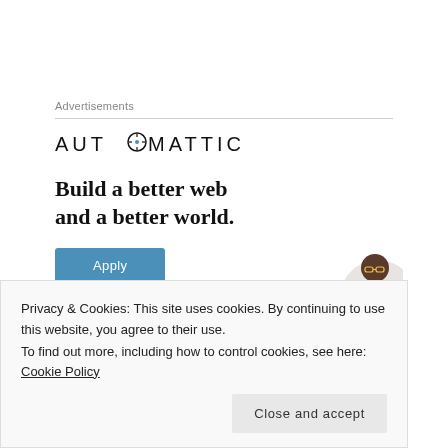Advertisements
[Figure (logo): Automattic logo with compass icon replacing the O in AUTOMATTIC, displayed in black text on white background]
Build a better web and a better world.
[Figure (illustration): Blue Apply button and a photo of a man wearing glasses on a light grey circular background]
Privacy & Cookies: This site uses cookies. By continuing to use this website, you agree to their use.
To find out more, including how to control cookies, see here: Cookie Policy
Close and accept